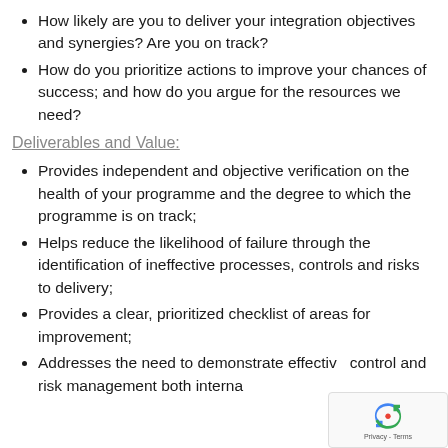How likely are you to deliver your integration objectives and synergies? Are you on track?
How do you prioritize actions to improve your chances of success; and how do you argue for the resources we need?
Deliverables and Value:
Provides independent and objective verification on the health of your programme and the degree to which the programme is on track;
Helps reduce the likelihood of failure through the identification of ineffective processes, controls and risks to delivery;
Provides a clear, prioritized checklist of areas for improvement;
Addresses the need to demonstrate effective control and risk management both internally and externally...